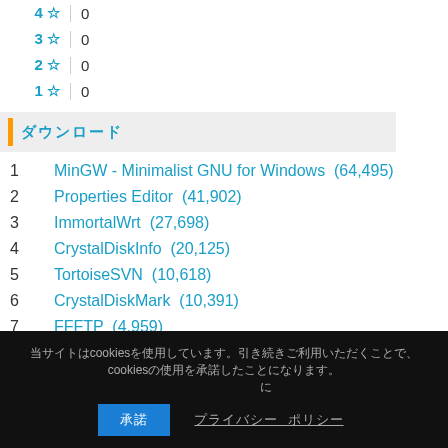| Rating | Count |
| --- | --- |
| 4 ☆ | 0 |
| 3 ☆ | 0 |
| 2 ☆ | 0 |
| 1 ☆ | 0 |
ダウンロード
1  MinGW - Minimalist GNU for Windows  (64,495)
2  Properties Editor  (41,902)
3  ImmortalWrt  (27,698)
4  CrystalDiskInfo  (20,125)
5  TortoiseSVN  (10,618)
6  CrystalDiskMark  (10,391)
7  FFFTP  (4,959)
8  ??? (?,???)
9
10
11  Amarok X86  (1,784)
当サイトはcookiesを使用しています。引き続きご利用いただくことで、cookiesの使用を承諾したことになります。 承諾  プライバシー ポリシー